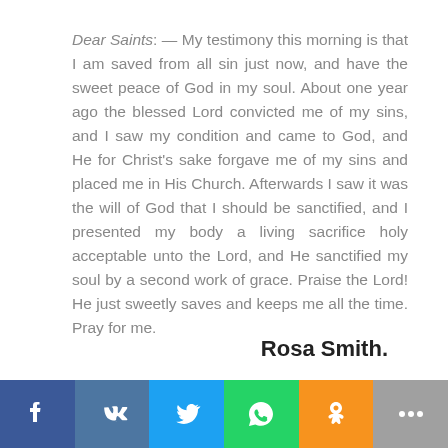Dear Saints: — My testimony this morning is that I am saved from all sin just now, and have the sweet peace of God in my soul. About one year ago the blessed Lord convicted me of my sins, and I saw my condition and came to God, and He for Christ's sake forgave me of my sins and placed me in His Church. Afterwards I saw it was the will of God that I should be sanctified, and I presented my body a living sacrifice holy acceptable unto the Lord, and He sanctified my soul by a second work of grace. Praise the Lord! He just sweetly saves and keeps me all the time. Pray for me.
Rosa Smith.
[Figure (other): Social media sharing bar with icons for Facebook, VK, Twitter, WhatsApp, Odnoklassniki, and more options]